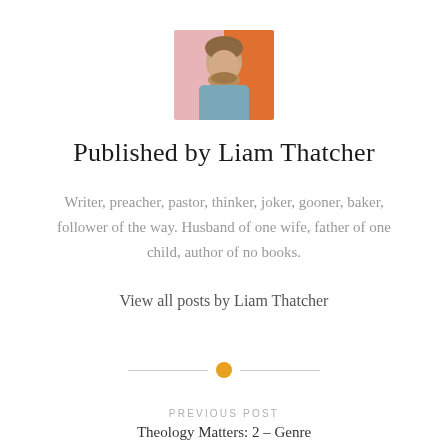[Figure (photo): Small square author photo of Liam Thatcher, a bearded man in a grey-blue top against a pink and orange background]
Published by Liam Thatcher
Writer, preacher, pastor, thinker, joker, gooner, baker, follower of the way. Husband of one wife, father of one child, author of no books.
View all posts by Liam Thatcher
PREVIOUS POST
Theology Matters: 2 – Genre